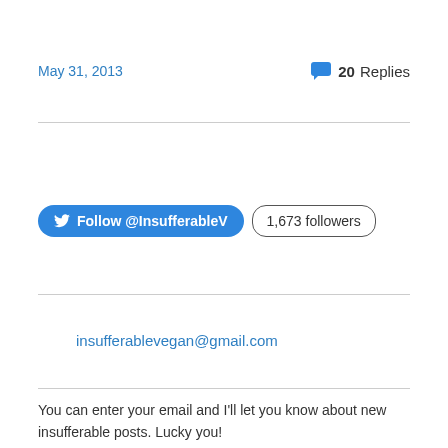May 31, 2013
💬 20 Replies
insufferablevegan@gmail.com
[Figure (other): Twitter Follow @InsufferableV button and 1,673 followers badge]
You can enter your email and I'll let you know about new insufferable posts. Lucky you!